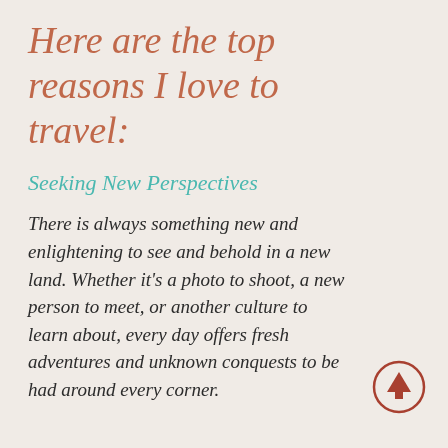Here are the top reasons I love to travel:
Seeking New Perspectives
There is always something new and enlightening to see and behold in a new land. Whether it’s a photo to shoot, a new person to meet, or another culture to learn about, every day offers fresh adventures and unknown conquests to be had around every corner.
[Figure (illustration): Upward arrow icon in a circle, terracotta/rust color]